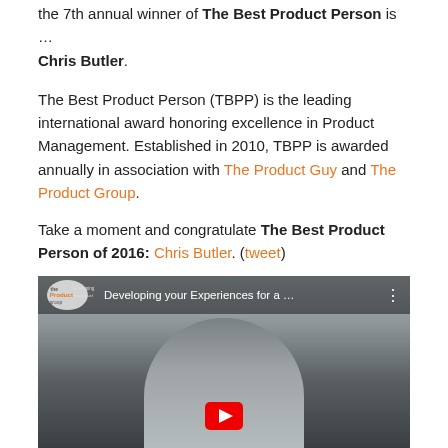the 7th annual winner of The Best Product Person is … Chris Butler.
The Best Product Person (TBPP) is the leading international award honoring excellence in Product Management. Established in 2010, TBPP is awarded annually in association with The Product Guy and The Product Group.
Take a moment and congratulate The Best Product Person of 2016: Chris Butler. (tweet)
Advice
[Figure (screenshot): YouTube video thumbnail showing a man from shoulders up in front of a whiteboard, with a red YouTube play button overlay. Video title reads 'Developing your Experiences for a ...' with The Product Group logo in the top-left corner.]